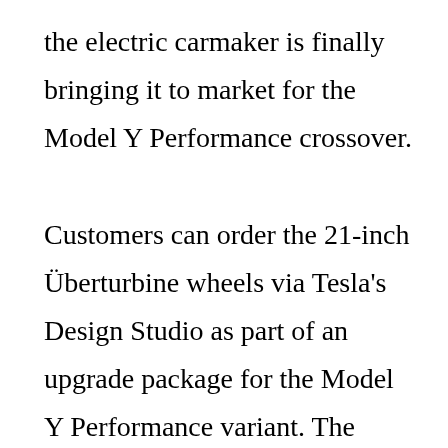the electric carmaker is finally bringing it to market for the Model Y Performance crossover.

Customers can order the 21-inch Überturbine wheels via Tesla's Design Studio as part of an upgrade package for the Model Y Performance variant. The Performance Upgrade also includes increased top speed from 145 mph to 155 mph, performance brakes, lowered suspension, and aluminum alloy pedals. The Model Y Performance